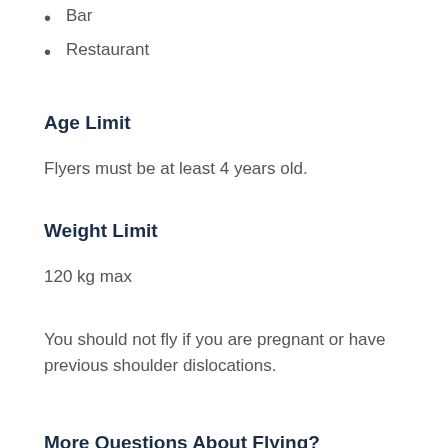Bar
Restaurant
Age Limit
Flyers must be at least 4 years old.
Weight Limit
120 kg max
You should not fly if you are pregnant or have previous shoulder dislocations.
More Questions About Flying?
Please read our FAQs